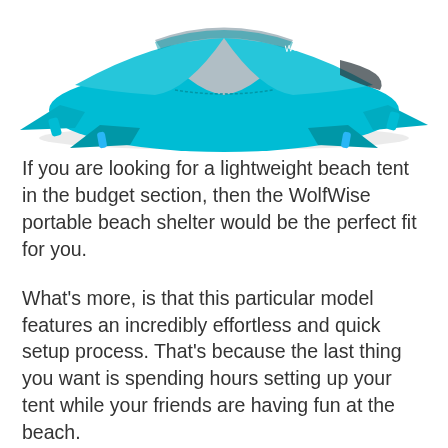[Figure (photo): A WolfWise portable beach shelter/tent shown from above at an angle. The tent is turquoise/teal and gray colored with a flat aerodynamic shape, shown partially open with tent stakes visible. The WolfWise logo is visible on the tent.]
If you are looking for a lightweight beach tent in the budget section, then the WolfWise portable beach shelter would be the perfect fit for you.
What's more, is that this particular model features an incredibly effortless and quick setup process. That's because the last thing you want is spending hours setting up your tent while your friends are having fun at the beach.
All your carrying problems disappear when you buy the WolfWise beach tent. That's because it comes with a comfortable